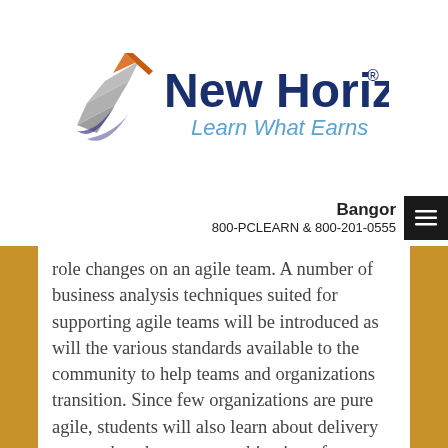[Figure (logo): New Horizons logo with tagline 'Learn What Earns']
Bangor  800-PCLEARN  & 800-201-0555
role changes on an agile team. A number of business analysis techniques suited for supporting agile teams will be introduced as will the various standards available to the community to help teams and organizations transition. Since few organizations are pure agile, students will also learn about delivery approaches that use a combination of practices from waterfall and agile and will also be introduced to the important concept of